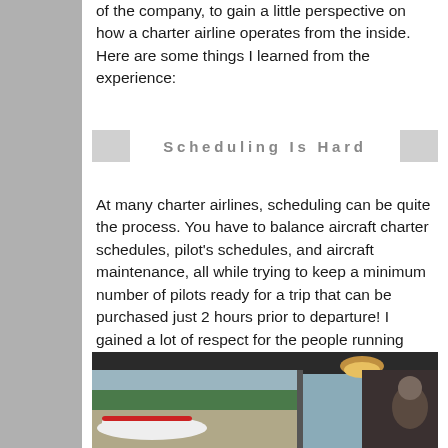of the company, to gain a little perspective on how a charter airline operates from the inside. Here are some things I learned from the experience:
Scheduling Is Hard
At many charter airlines, scheduling can be quite the process. You have to balance aircraft charter schedules, pilot's schedules, and aircraft maintenance, all while trying to keep a minimum number of pilots ready for a trip that can be purchased just 2 hours prior to departure! I gained a lot of respect for the people running schedules and operations, they have quite the job to manage!
[Figure (photo): Interior view of an airport lounge or terminal with large windows looking out onto the tarmac where aircraft are parked. A lamp is visible in the upper right area. A person is partially visible on the right side.]